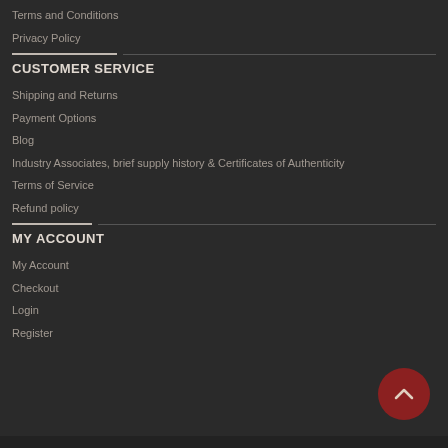Terms and Conditions
Privacy Policy
CUSTOMER SERVICE
Shipping and Returns
Payment Options
Blog
Industry Associates, brief supply history & Certificates of Authenticity
Terms of Service
Refund policy
MY ACCOUNT
My Account
Checkout
Login
Register